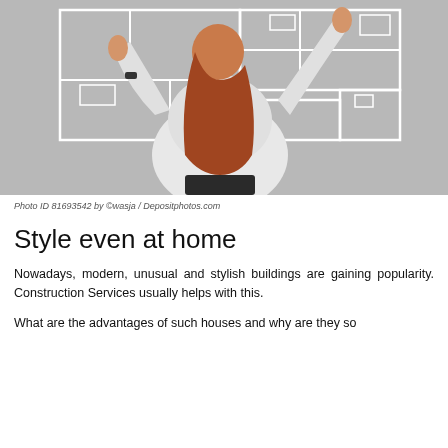[Figure (photo): Woman with red hair seen from behind, wearing a white blouse, touching a large floor plan diagram drawn in white lines on a gray wall, with both arms raised.]
Photo ID 81693542 by ©wasja / Depositphotos.com
Style even at home
Nowadays, modern, unusual and stylish buildings are gaining popularity. Construction Services usually helps with this.
What are the advantages of such houses and why are they so